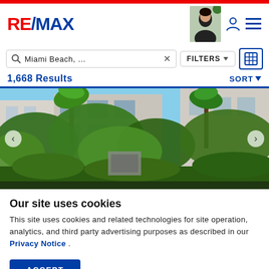RE/MAX
Miami Beach, ... ×   FILTERS ▾   [map icon]
1,668 Results   SORT ▾
[Figure (photo): Exterior of a Miami Beach property with tropical palm trees and lush green vegetation. Navigation arrows on left and right.]
Our site uses cookies
This site uses cookies and related technologies for site operation, analytics, and third party advertising purposes as described in our Privacy Notice .
ACCEPT